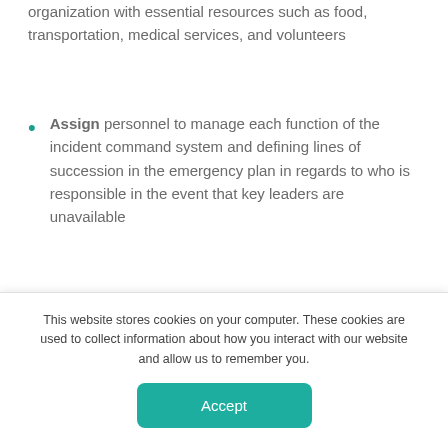organization with essential resources such as food, transportation, medical services, and volunteers
Assign personnel to manage each function of the incident command system and defining lines of succession in the emergency plan in regards to who is responsible in the event that key leaders are unavailable
Response: Documented plans and efforts that will be used when responding to an emergency situation.
The response phase refers to the plans and efforts that are put in place in order to respond safely to the event. Emergency response plans should be a collaborative
This website stores cookies on your computer. These cookies are used to collect information about how you interact with our website and allow us to remember you.